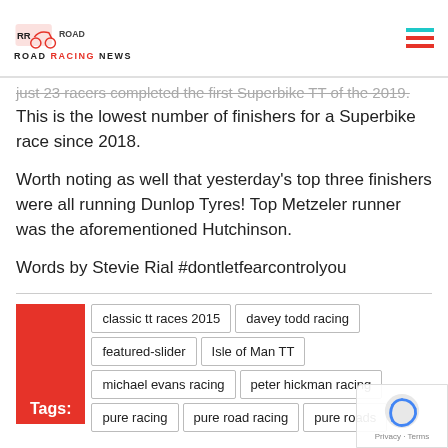Road Racing News
just 23 racers completed the first Superbike TT of the 2019. (strikethrough)
This is the lowest number of finishers for a Superbike race since 2018.
Worth noting as well that yesterday's top three finishers were all running Dunlop Tyres! Top Metzeler runner was the aforementioned Hutchinson.
Words by Stevie Rial #dontletfearcontrolyou
Tags: classic tt races 2015 | davey todd racing | featured-slider | Isle of Man TT | michael evans racing | peter hickman racing | pure racing | pure road racing | pure roads